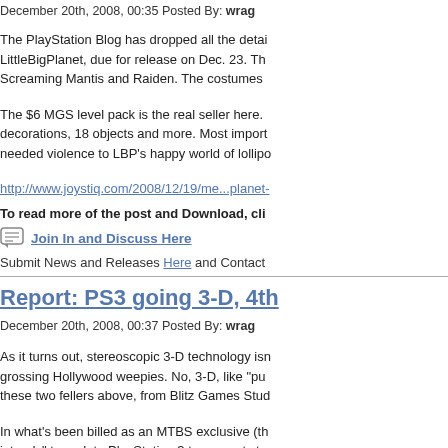December 20th, 2008, 00:35 Posted By: wrag
The PlayStation Blog has dropped all the detai... LittleBigPlanet, due for release on Dec. 23. Th... Screaming Mantis and Raiden. The costumes
The $6 MGS level pack is the real seller here. ... decorations, 18 objects and more. Most import... needed violence to LBP's happy world of lollipo
http://www.joystiq.com/2008/12/19/me...planet-
To read more of the post and Download, cli
Join In and Discuss Here
Submit News and Releases Here and Contact
Report: PS3 going 3-D, 4th
December 20th, 2008, 00:37 Posted By: wrag
As it turns out, stereoscopic 3-D technology isn... grossing Hollywood weepies. No, 3-D, like "pu... these two fellers above, from Blitz Games Stud
In what's been billed as an MTBS exclusive (th... intends" to update PlayStation 3 to support ste... for Ubisoft's 3-D Avatar game). What's more